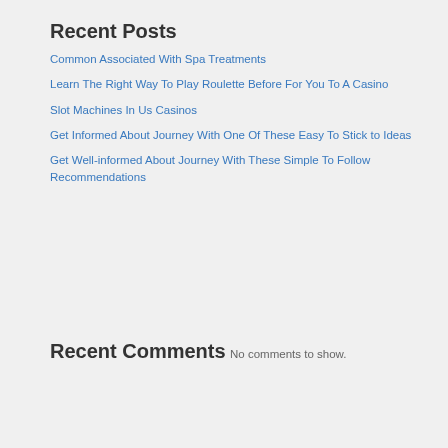Recent Posts
Common Associated With Spa Treatments
Learn The Right Way To Play Roulette Before For You To A Casino
Slot Machines In Us Casinos
Get Informed About Journey With One Of These Easy To Stick to Ideas
Get Well-informed About Journey With These Simple To Follow Recommendations
Recent Comments
No comments to show.